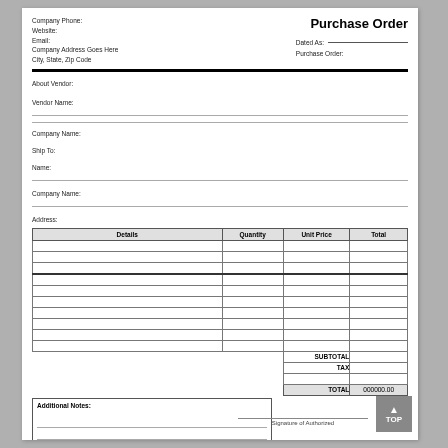Company Phone:
Website:
Email:
Company Address Goes Here
City, State, Zip Code
Purchase Order
Dated As:
Purchase Order:
About Vendor:
Vendor Name:
Company Name:
Ship To:
Name:
Company Name:
Address:
| Details | Quantity | Unit Price | Total |
| --- | --- | --- | --- |
|  |  |  |  |
|  |  |  |  |
|  |  |  |  |
|  |  |  |  |
|  |  |  |  |
|  |  |  |  |
|  |  |  |  |
|  |  |  |  |
|  |  |  |  |
|  |  |  |  |
|  | SUBTOTAL |  |  |
|  | TAX |  |  |
|  |  |  |  |
|  | TOTAL |  | 000000.00 |
Additional Notes:
Signature of Authorized